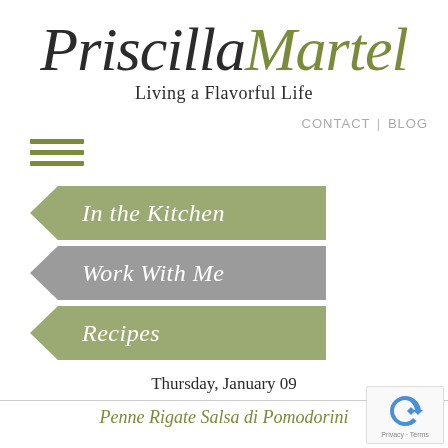PriscillaMartel — Living a Flavorful Life
CONTACT | BLOG
[Figure (other): Hamburger/menu icon with three olive-green horizontal lines]
In the Kitchen
Work With Me
Recipes
Thursday, January 09
Penne Rigate Salsa di Pomodorini